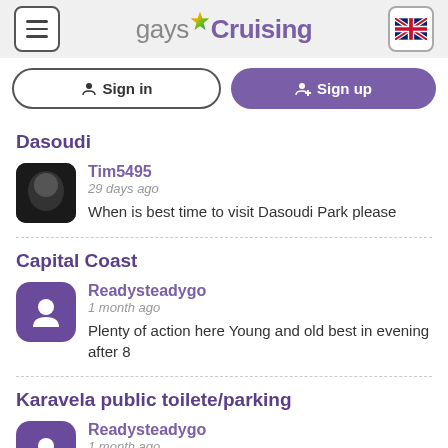gaysCruising
Sign in | Sign up
Dasoudi
Tim5495
29 days ago
When is best time to visit Dasoudi Park please
Capital Coast
Readysteadygo
1 month ago
Plenty of action here Young and old best in evening after 8
Karavela public toilete/parking
Readysteadygo
1 month ago